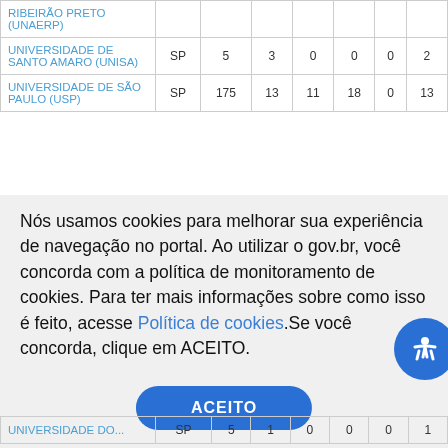| Instituição | UF |  |  |  |  |  |  |
| --- | --- | --- | --- | --- | --- | --- | --- |
| RIBEIRÃO PRETO (UNAERP) |  |  |  |  |  |  |  |
| UNIVERSIDADE DE SANTO AMARO (UNISA) | SP | 5 | 3 | 0 | 0 | 0 | 2 |
| UNIVERSIDADE DE SÃO PAULO (USP) | SP | 175 | 13 | 11 | 18 | 0 | 13... |
Nós usamos cookies para melhorar sua experiência de navegação no portal. Ao utilizar o gov.br, você concorda com a política de monitoramento de cookies. Para ter mais informações sobre como isso é feito, acesse Política de cookies.Se você concorda, clique em ACEITO.
| Instituição | UF |  |  |  |  |  |  |
| --- | --- | --- | --- | --- | --- | --- | --- |
| UNIVERSIDADE DO... | SP | 5 | 1 | 0 | 0 | 0 | 1 |